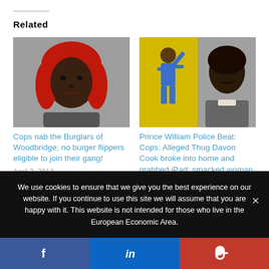Related
[Figure (photo): Mugshot of a woman with red hair against a grey background]
Cops nab the Burglars of Woodbridge; no burger flippers eligible to join their gang!
April 3, 2014
In "Breaking News"
[Figure (photo): Split image: illustrated figure on yellow background and mugshot of a young man]
Prince William Police Beat: Cops: Alleged Thug Davon Cook broke into home and grabbed iPad; smacked woman
October 6, 2015
In "Breaking News"
We use cookies to ensure that we give you the best experience on our website. If you continue to use this site we will assume that you are happy with it. This website is not intended for those who live in the European Economic Area.